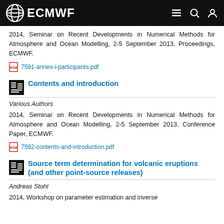ECMWF
2014, Seminar on Recent Developments in Numerical Methods for Atmosphere and Ocean Modelling, 2-5 September 2013, Proceedings, ECMWF.
7591-annex-i-participants.pdf
Contents and introduction
Various Authors
2014, Seminar on Recent Developments in Numerical Methods for Atmosphere and Ocean Modelling, 2-5 September 2013, Conference Paper, ECMWF.
7592-contents-and-introduction.pdf
Source term determination for volcanic eruptions (and other point-source releases)
Andreas Stohl
2014, Workshop on parameter estimation and inverse